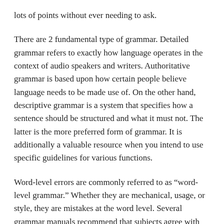lots of points without ever needing to ask.
There are 2 fundamental type of grammar. Detailed grammar refers to exactly how language operates in the context of audio speakers and writers. Authoritative grammar is based upon how certain people believe language needs to be made use of. On the other hand, descriptive grammar is a system that specifies how a sentence should be structured and what it must not. The latter is the more preferred form of grammar. It is additionally a valuable resource when you intend to use specific guidelines for various functions.
Word-level errors are commonly referred to as “word-level grammar.” Whether they are mechanical, usage, or style, they are mistakes at the word level. Several grammar manuals recommend that subjects agree with verbs. Along with this, the Oxford comma is a problem of style, not auto mechanics. Making